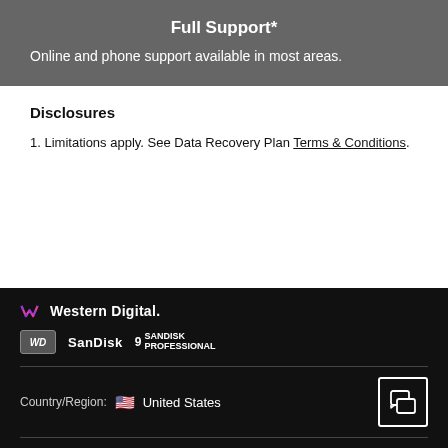Full Support
Online and phone support available in most areas.
Disclosures
1. Limitations apply. See Data Recovery Plan Terms & Conditions.
[Figure (logo): Western Digital logo with stylized W mark in pink/purple gradient and brand logos for WD, SanDisk, and SanDisk Professional]
Country/Region: United States